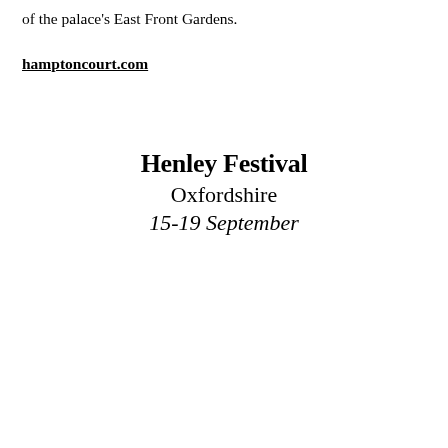of the palace's East Front Gardens.
hamptoncourt.com
Henley Festival
Oxfordshire
15-19 September